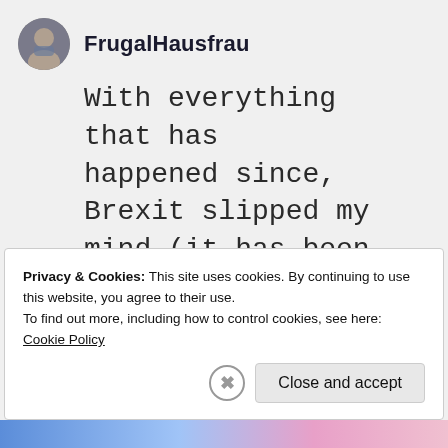FrugalHausfrau
With everything that has happened since, Brexit slipped my mind (it has been such a process for you guys!) We in
Privacy & Cookies: This site uses cookies. By continuing to use this website, you agree to their use.
To find out more, including how to control cookies, see here:
Cookie Policy
Close and accept